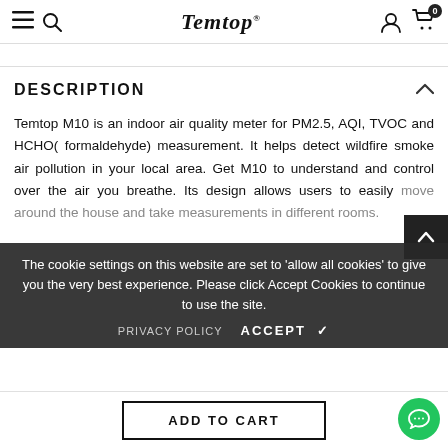Temtop® — navigation header with hamburger menu, search, user account, cart (0)
DESCRIPTION
Temtop M10 is an indoor air quality meter for PM2.5, AQI, TVOC and HCHO( formaldehyde) measurement. It helps detect wildfire smoke air pollution in your local area. Get M10 to understand and control over the air you breathe. Its design allows users to easily move around the house and take measurements in different rooms.
The cookie settings on this website are set to 'allow all cookies' to give you the very best experience. Please click Accept Cookies to continue to use the site.
PRIVACY POLICY   ACCEPT ✔
ADD TO CART